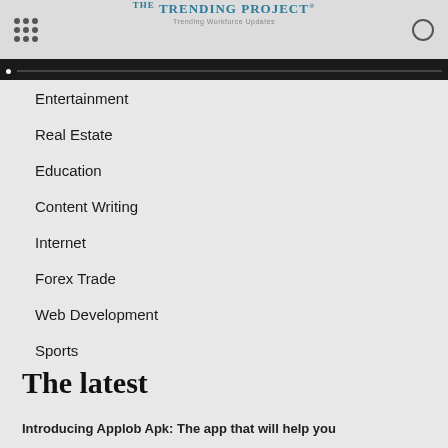The TRENDING PROJECT — Trending Workforce Updates
Entertainment
Real Estate
Education
Content Writing
Internet
Forex Trade
Web Development
Sports
The latest
Introducing Applob Apk: The app that will help you